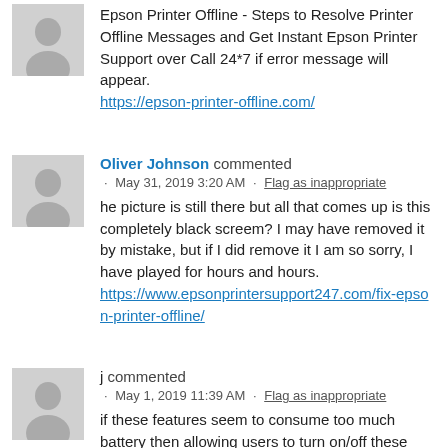Epson Printer Offline - Steps to Resolve Printer Offline Messages and Get Instant Epson Printer Support over Call 24*7 if error message will appear. https://epson-printer-offline.com/
Oliver Johnson commented · May 31, 2019 3:20 AM · Flag as inappropriate
he picture is still there but all that comes up is this completely black screem? I may have removed it by mistake, but if I did remove it I am so sorry, I have played for hours and hours. https://www.epsonprintersupport247.com/fix-epson-printer-offline/
j commented · May 1, 2019 11:39 AM · Flag as inappropriate
if these features seem to consume too much battery then allowing users to turn on/off these features on every page or specific page would be one possible